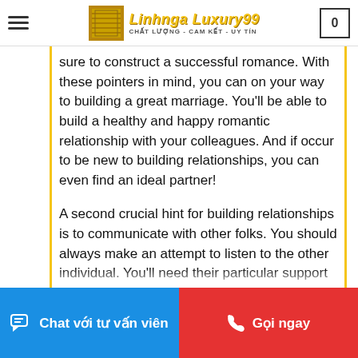Linhnga Luxury99 - CHẤT LƯỢNG - CAM KẾT - UY TÍN
sure to construct a successful romance. With these pointers in mind, you can on your way to building a great marriage. You'll be able to build a healthy and happy romantic relationship with your colleagues. And if occur to be new to building relationships, you can even find an ideal partner!
A second crucial hint for building relationships is to communicate with other folks. You should always make an attempt to listen to the other individual. You'll need their particular support when you're in want. In addition , this will assist you to build a more positive and useful relationship with all your workforce. The best human relationships are the ones that are built on the mutual understanding and
Chat với tư vấn viên   Gọi ngay